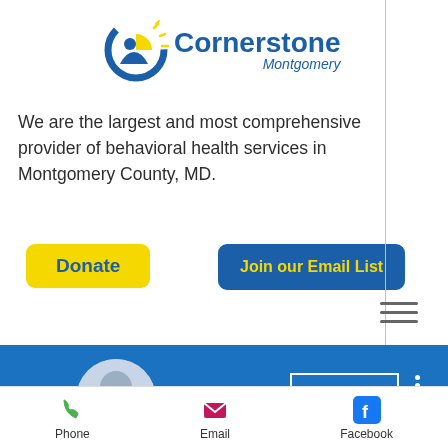[Figure (logo): Cornerstone Montgomery logo with circular icon showing a person and sun rays, and blue text 'Cornerstone' with italic 'Montgomery']
We are the largest and most comprehensive provider of behavioral health services in Montgomery County, MD.
[Figure (infographic): Yellow 'Donate' button and blue 'Join our Email List' button]
[Figure (infographic): Hamburger menu icon (three horizontal lines) on right side]
[Figure (infographic): Blue banner section with profile avatar circle, Follow button, and vertical three-dot menu]
[Figure (infographic): Bottom navigation bar with Phone (green phone icon), Email (pink envelope icon), Facebook (blue Facebook icon) options]